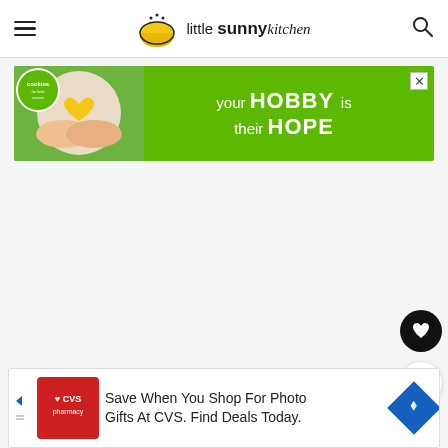little sunny kitchen
[Figure (screenshot): Advertisement banner: green background with 'your HOBBY is their HOPE' text and Cookies for Kids Cancer logo/image with child holding heart-shaped cookie]
[Figure (illustration): Large white/gray blank content area]
[Figure (other): Black circular heart/favorite button and white circular share button on right side]
[Figure (screenshot): Bottom advertisement: CVS Pharmacy logo with text 'Save When You Shop For Photo Gifts At CVS. Find Deals Today.' and blue diamond navigation icon]